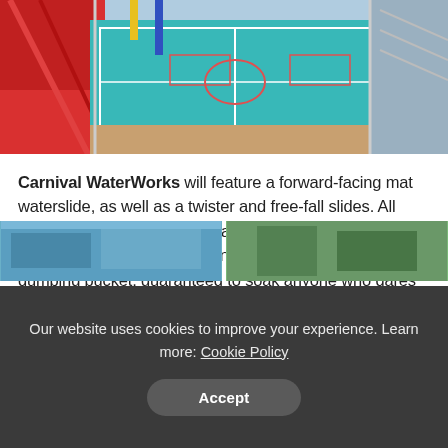[Figure (illustration): Aerial/isometric view of a cruise ship deck showing sports courts (tennis/basketball) in teal/turquoise, red structures (water slides), wooden deck areas, and metal railings.]
Carnival WaterWorks will feature a forward-facing mat waterslide, as well as a twister and free-fall slides. All three spiralling slide options are sure to give you a big splash at the end. Surrounding the slides is a giant water dumping bucket, guaranteed to soak anyone who dares to stand under it.
[Figure (photo): Two partial photos at the bottom showing what appear to be water park / poolside scenes on a cruise ship]
Our website uses cookies to improve your experience. Learn more: Cookie Policy
Accept